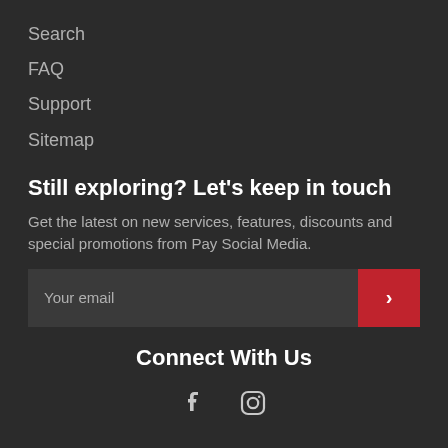Search
FAQ
Support
Sitemap
Still exploring? Let's keep in touch
Get the latest on new services, features, discounts and special promotions from Pay Social Media.
[Figure (other): Email subscription input field with red submit arrow button]
Connect With Us
[Figure (other): Social media icons: Facebook and Instagram]